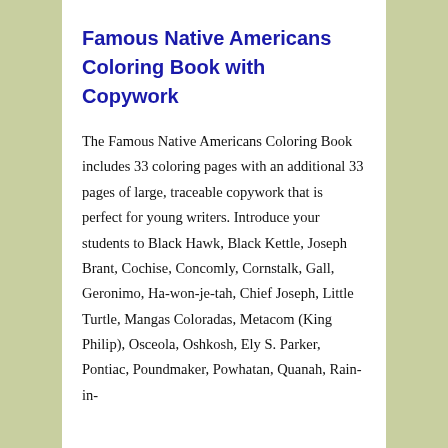Famous Native Americans Coloring Book with Copywork
The Famous Native Americans Coloring Book includes 33 coloring pages with an additional 33 pages of large, traceable copywork that is perfect for young writers. Introduce your students to Black Hawk, Black Kettle, Joseph Brant, Cochise, Concomly, Cornstalk, Gall, Geronimo, Ha-won-je-tah, Chief Joseph, Little Turtle, Mangas Coloradas, Metacom (King Philip), Osceola, Oshkosh, Ely S. Parker, Pontiac, Poundmaker, Powhatan, Quanah, Rain-in-